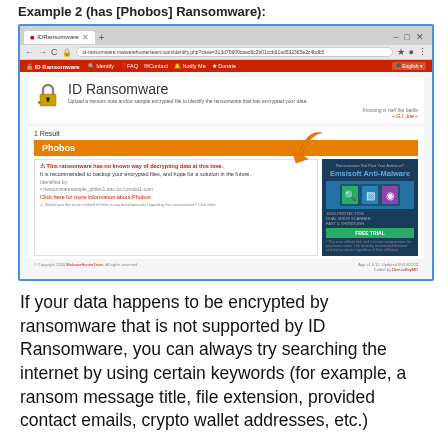Example 2 (has [Phobos] Ransomware):
[Figure (screenshot): Screenshot of ID Ransomware website (id-ransomware.malwarehunterteam.com) showing 1 Result identified as 'Phobos' ransomware. The result states: 'This ransomware has no known way of decrypting data at this time. It is recommended to backup your encrypted files, and hope for a solution in the future.' An orange arrow points to the Phobos result. An Emsisoft Anti-Malware advertisement appears on the right side.]
If your data happens to be encrypted by ransomware that is not supported by ID Ransomware, you can always try searching the internet by using certain keywords (for example, a ransom message title, file extension, provided contact emails, crypto wallet addresses, etc.)